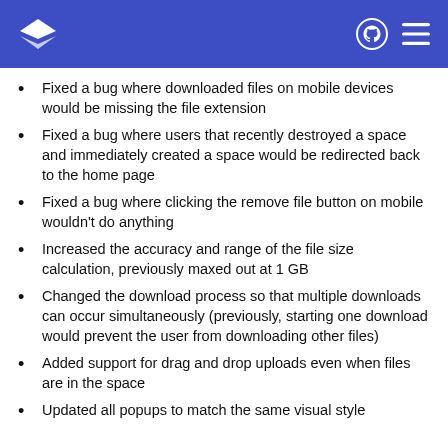Fixed a bug where downloaded files on mobile devices would be missing the file extension
Fixed a bug where users that recently destroyed a space and immediately created a space would be redirected back to the home page
Fixed a bug where clicking the remove file button on mobile wouldn't do anything
Increased the accuracy and range of the file size calculation, previously maxed out at 1 GB
Changed the download process so that multiple downloads can occur simultaneously (previously, starting one download would prevent the user from downloading other files)
Added support for drag and drop uploads even when files are in the space
Updated all popups to match the same visual style